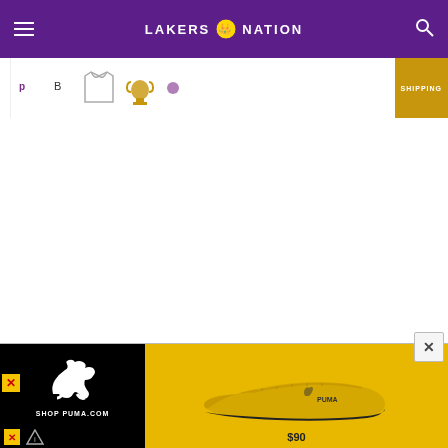LAKERS NATION
[Figure (screenshot): Partial advertisement banner strip with product icons and SHIPPING label in gold/orange]
[Figure (screenshot): White empty main content area of webpage]
[Figure (screenshot): PUMA advertisement showing yellow Ferrari sneaker with Puma logo on black background, price $90, SHOP PUMA.COM text]